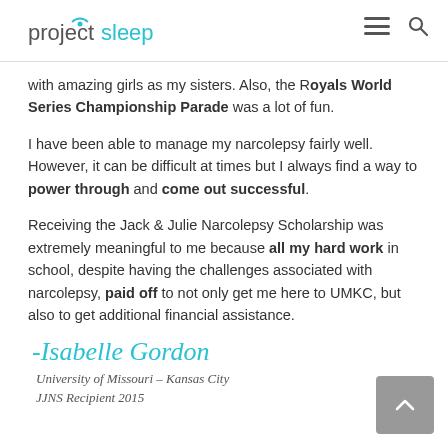projectsleep
with amazing girls as my sisters. Also, the Royals World Series Championship Parade was a lot of fun.
I have been able to manage my narcolepsy fairly well. However, it can be difficult at times but I always find a way to power through and come out successful.
Receiving the Jack & Julie Narcolepsy Scholarship was extremely meaningful to me because all my hard work in school, despite having the challenges associated with narcolepsy, paid off to not only get me here to UMKC, but also to get additional financial assistance.
-Isabelle Gordon
University of Missouri – Kansas City
JJNS Recipient 2015